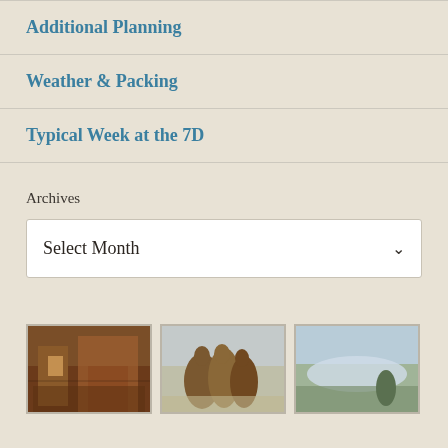Additional Planning
Weather & Packing
Typical Week at the 7D
Archives
Select Month
[Figure (photo): Three thumbnail photos: interior of cabin/lodge room, horses running in dust, scenic landscape with water and hills]